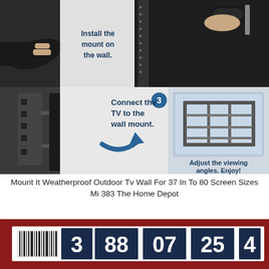[Figure (illustration): Instructional composite image showing how to install a TV wall mount. Step 2: hands installing mount on wall with screwdriver. Step 3: 'Connect the TV to the wall mount' with blue arrow. Right side shows diagram of TV wall mount bracket and text 'Adjust the viewing angles. Enjoy!']
Mount It Weatherproof Outdoor Tv Wall For 37 In To 80 Screen Sizes Mi 383 The Home Depot
[Figure (photo): Close-up photo of a red retail shelf edge or bin showing a barcode label with numbers 3 88 07 25 4 visible in large bold white digits on dark blue/navy background segments.]